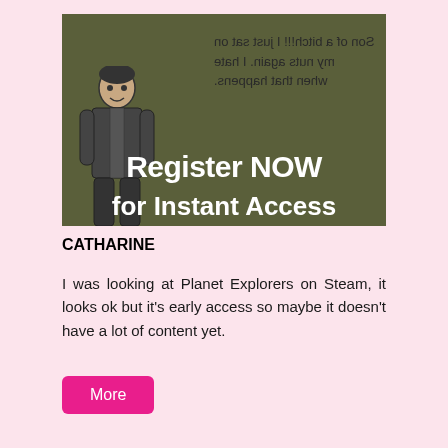[Figure (illustration): A promotional image with an olive/dark green background showing a cartoon-style person in a suit. Mirror-reversed text reads 'Son of a bitch!!! I just sat on my nuts again. I hate when that happens.' Large white text reads 'Register NOW' and partially visible text below reads 'for Instant Access'.]
CATHARINE
I was looking at Planet Explorers on Steam, it looks ok but it's early access so maybe it doesn't have a lot of content yet.
More